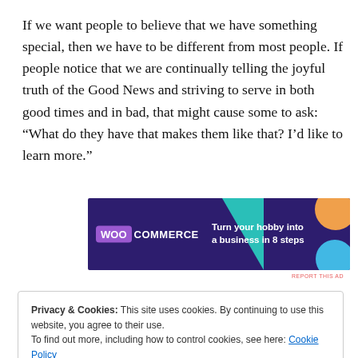If we want people to believe that we have something special, then we have to be different from most people. If people notice that we are continually telling the joyful truth of the Good News and striving to serve in both good times and in bad, that might cause some to ask: “What do they have that makes them like that? I’d like to learn more.”
[Figure (other): WooCommerce advertisement banner with purple/dark background, teal triangle, orange and blue circular blobs. Text reads 'WOO COMMERCE - Turn your hobby into a business in 8 steps']
REPORT THIS AD
Privacy & Cookies: This site uses cookies. By continuing to use this website, you agree to their use.
To find out more, including how to control cookies, see here: Cookie Policy
[Close and accept]